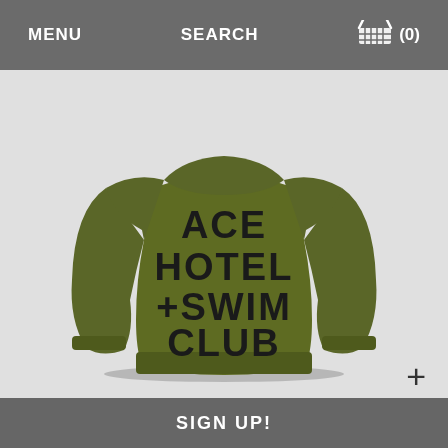MENU   SEARCH   (0)
[Figure (photo): Olive green crewneck sweatshirt with bold black text reading ACE HOTEL + SWIM CLUB printed on the front, displayed on a light gray background.]
+
SIGN UP!